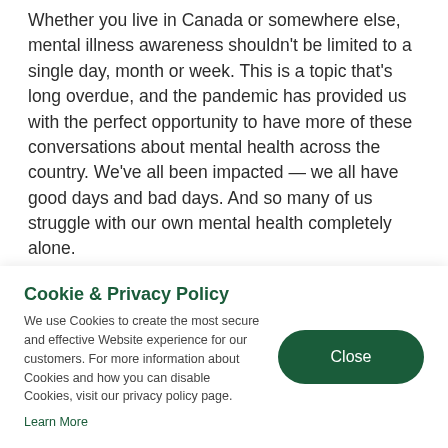Whether you live in Canada or somewhere else, mental illness awareness shouldn't be limited to a single day, month or week. This is a topic that's long overdue, and the pandemic has provided us with the perfect opportunity to have more of these conversations about mental health across the country. We've all been impacted — we all have good days and bad days. And so many of us struggle with our own mental health completely alone.
I am so proud to share my story today, and hopefully provide teammates a deeper
Cookie & Privacy Policy
We use Cookies to create the most secure and effective Website experience for our customers. For more information about Cookies and how you can disable Cookies, visit our privacy policy page.
Learn More